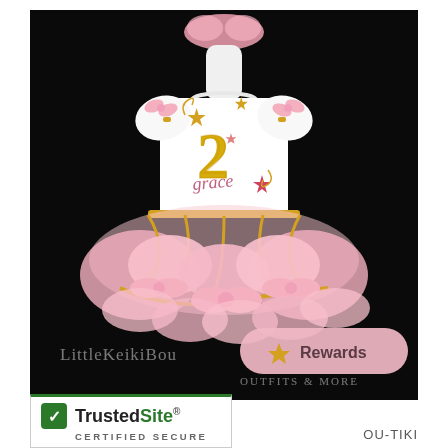[Figure (photo): Product photo of a child's birthday tutu outfit set on a mannequin. White short-sleeve shirt with gold glitter number '2' and pink star decorations, with the name 'Grace' embroidered. Pink and gold ribbon-trimmed tutu skirt with pink bows. Pink fluffy headband accessory. Black background. Watermark 'LittleKeikiBou' and 'OUTFITS & MORE' visible. Rewards button overlay in pink. TrustedSite Certified Secure badge in lower left.]
LittleKeikiBou
OUTFITS & MORE
Rewards
TrustedSite® CERTIFIED SECURE
OU-TIKI